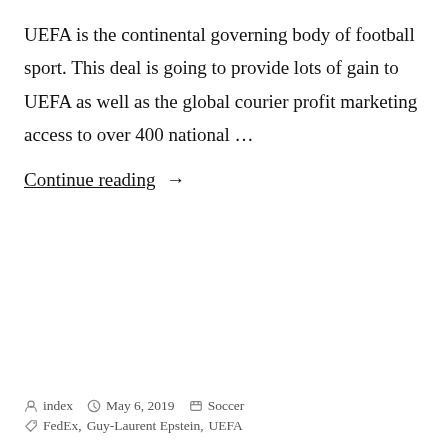UEFA is the continental governing body of football sport. This deal is going to provide lots of gain to UEFA as well as the global courier profit marketing access to over 400 national …
Continue reading →
index   May 6, 2019   Soccer   FedEx, Guy-Laurent Epstein, UEFA